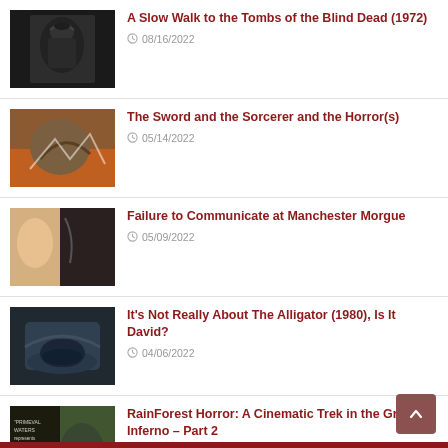A Slow Walk to the Tombs of the Blind Dead (1972) — 08/16/2022
The Sword and the Sorcerer and the Horror(s) — 05/14/2022
Failure to Communicate at Manchester Morgue — 05/09/2022
It’s Not Really About The Alligator (1980), Is It David? — 04/06/2022
RainForest Horror: A Cinematic Trek in the Green Inferno – Part 2 — 03/03/2022